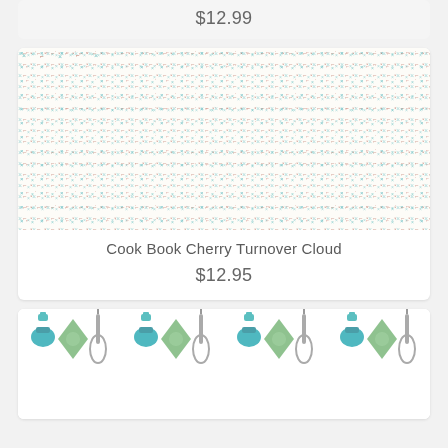$12.99
[Figure (photo): Cross-stitch or fabric pattern with small repeating X and tick marks in red/coral and teal/blue colors on cream background - Cook Book Cherry Turnover Cloud fabric]
Cook Book Cherry Turnover Cloud
$12.95
[Figure (photo): Teal and green kitchen utensils pattern on white background - showing cooking tools like whisks, spoons, pots in retro style]